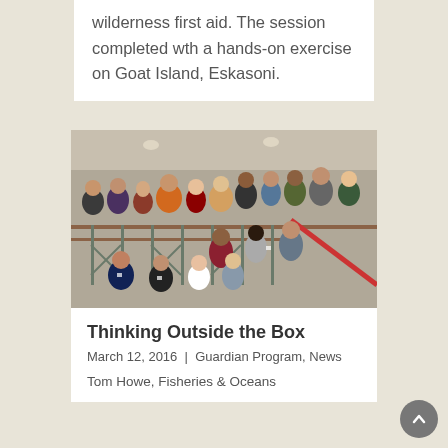wilderness first aid. The session completed wth a hands-on exercise on Goat Island, Eskasoni.
[Figure (photo): Group photo of approximately 20 people standing on a hotel balcony/staircase area, some seated in front. Indoor venue with decorative metal railings.]
Thinking Outside the Box
March 12, 2016 | Guardian Program, News
Tom Howe, Fisheries & Oceans